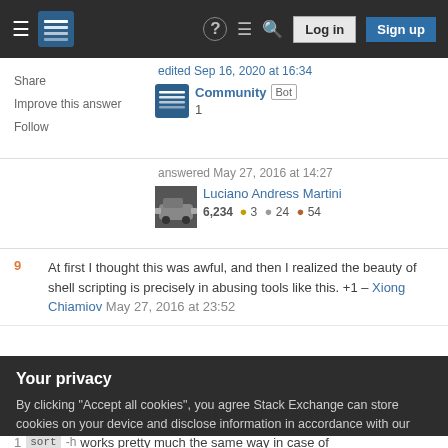Stack Exchange navigation bar with hamburger menu, logo, help, chat, search icons, Log in and Sign up buttons
Share
Improve this answer
Follow
edited Sep 16, 2020 at 16:34
Community Bot
1
answered May 27, 2016 at 14:27
Luciano Andress Martini
6,234 ● 3 ● 24 ● 54
9  At first I thought this was awful, and then I realized the beauty of shell scripting is precisely in abusing tools like this. +1 – Xiong Chiamiov May 27, 2016 at 23:52
3  This breaks if there are '%' signs in the print statement
Your privacy
By clicking "Accept all cookies", you agree Stack Exchange can store cookies on your device and disclose information in accordance with our Cookie Policy.
Accept all cookies   Customize settings
1  sort -h works pretty much the same way in case of